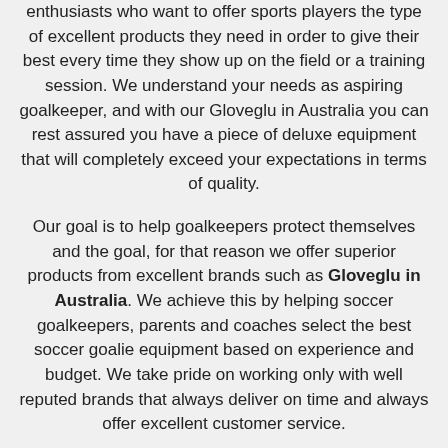enthusiasts who want to offer sports players the type of excellent products they need in order to give their best every time they show up on the field or a training session. We understand your needs as aspiring goalkeeper, and with our Gloveglu in Australia you can rest assured you have a piece of deluxe equipment that will completely exceed your expectations in terms of quality.
Our goal is to help goalkeepers protect themselves and the goal, for that reason we offer superior products from excellent brands such as Gloveglu in Australia. We achieve this by helping soccer goalkeepers, parents and coaches select the best soccer goalie equipment based on experience and budget. We take pride on working only with well reputed brands that always deliver on time and always offer excellent customer service.